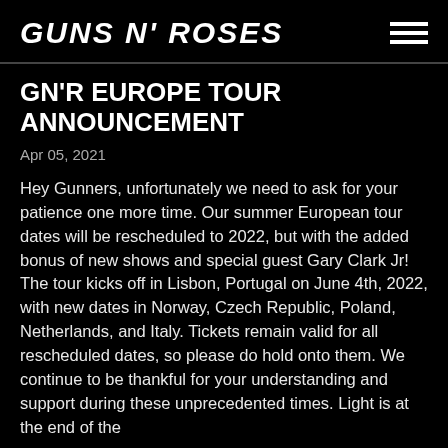GUNS N' ROSES
GN'R EUROPE TOUR ANNOUNCEMENT
Apr 05, 2021
Hey Gunners, unfortunately we need to ask for your patience one more time. Our summer European tour dates will be rescheduled to 2022, but with the added bonus of new shows and special guest Gary Clark Jr! The tour kicks off in Lisbon, Portugal on June 4th, 2022, with new dates in Norway, Czech Republic, Poland, Netherlands, and Italy. Tickets remain valid for all rescheduled dates, so please do hold onto them. We continue to be thankful for your understanding and support during these unprecedented times. Light is at the end of the